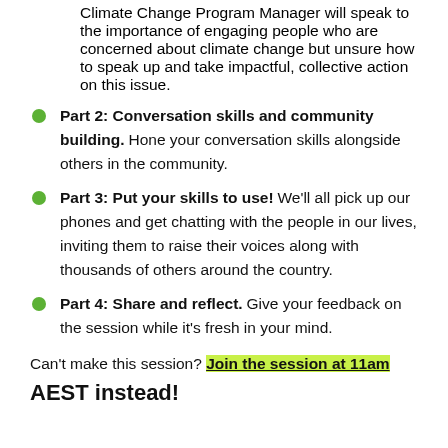Climate Change Program Manager will speak to the importance of engaging people who are concerned about climate change but unsure how to speak up and take impactful, collective action on this issue.
Part 2: Conversation skills and community building. Hone your conversation skills alongside others in the community.
Part 3: Put your skills to use! We'll all pick up our phones and get chatting with the people in our lives, inviting them to raise their voices along with thousands of others around the country.
Part 4: Share and reflect. Give your feedback on the session while it's fresh in your mind.
Can't make this session? Join the session at 11am AEST instead!